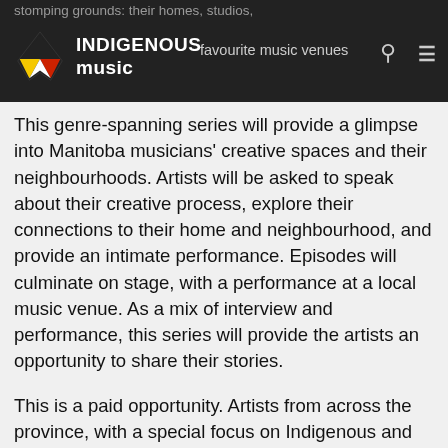stomping grounds: their homes, studios, favourite music venues — INDIGENOUS music
This genre-spanning series will provide a glimpse into Manitoba musicians' creative spaces and their neighbourhoods. Artists will be asked to speak about their creative process, explore their connections to their home and neighbourhood, and provide an intimate performance. Episodes will culminate on stage, with a performance at a local music venue. As a mix of interview and performance, this series will provide the artists an opportunity to share their stories.
This is a paid opportunity. Artists from across the province, with a special focus on Indigenous and Francophone artists, are invited to apply. Videos will be approximately 20 minutes long and feature two songs. All performances will be recorded in